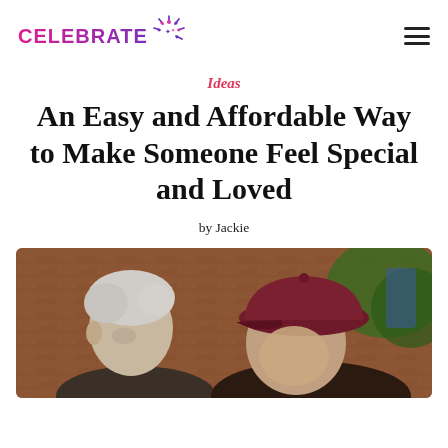CELEBRATE [logo]
Ideas
An Easy and Affordable Way to Make Someone Feel Special and Loved
by Jackie
[Figure (photo): Two elderly people close together outdoors, one with gray hair (left) and one wearing a maroon/burgundy baseball cap (right), brick wall in background]